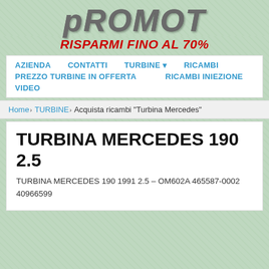[Figure (logo): PROMOT company logo in large bold italic metallic gray text with turbine/gear imagery integrated into O letters]
RISPARMI FINO AL 70%
AZIENDA   CONTATTI   TURBINE   RICAMBI   PREZZO TURBINE IN OFFERTA   RICAMBI INIEZIONE   VIDEO
Home › TURBINE › Acquista ricambi "Turbina Mercedes"
TURBINA MERCEDES 190 2.5
TURBINA MERCEDES 190 1991 2.5 – OM602A 465587-0002 40966599